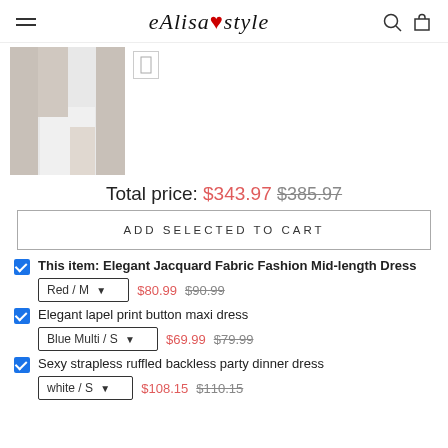Alisastyle (logo with menu, search, cart icons)
[Figure (photo): Product thumbnail showing a white mid-length dress worn by a model, with a small secondary thumbnail icon beside it]
Total price: $343.97  $385.97
ADD SELECTED TO CART
This item: Elegant Jacquard Fabric Fashion Mid-length Dress  Red / M  $80.99  $90.99
Elegant lapel print button maxi dress  Blue Multi / S  $69.99  $79.99
Sexy strapless ruffled backless party dinner dress  white / S  $108.15  $110.15